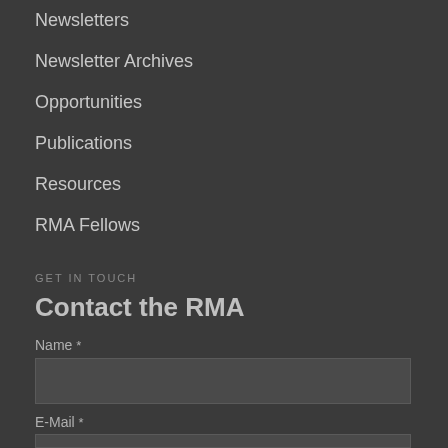Newsletters
Newsletter Archives
Opportunities
Publications
Resources
RMA Fellows
GET IN TOUCH
Contact the RMA
Name *
E-Mail *